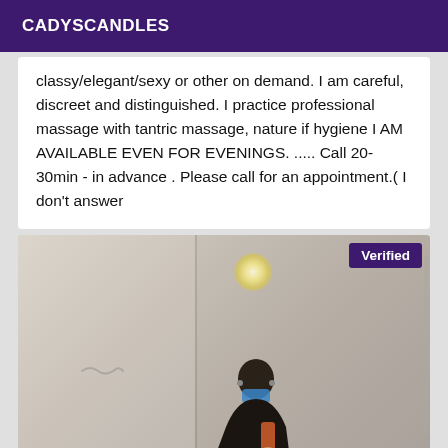CADYSCANDLES
classy/elegant/sexy or other on demand. I am careful, discreet and distinguished. I practice professional massage with tantric massage, nature if hygiene I AM AVAILABLE EVEN FOR EVENINGS. ..... Call 20-30min - in advance . Please call for an appointment.( I don't answer
[Figure (photo): Mirror selfie photo of a person wearing a mask, taken in a room with a ceiling light visible. A 'Verified' badge appears in the top-right corner of the photo.]